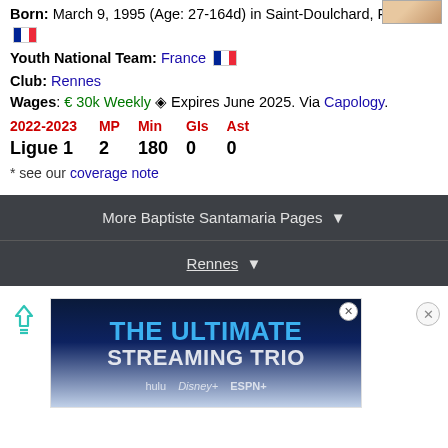Born: March 9, 1995 (Age: 27-164d) in Saint-Doulchard, France
Youth National Team: France
Club: Rennes
Wages: € 30k Weekly ◈ Expires June 2025. Via Capology.
| 2022-2023 | MP | Min | GIs | Ast |
| --- | --- | --- | --- | --- |
| Ligue 1 | 2 | 180 | 0 | 0 |
* see our coverage note
More Baptiste Santamaria Pages ▼
Rennes ▼
[Figure (photo): Advertisement for streaming service: THE ULTIMATE STREAMING TRIO with Hulu, Disney+ and ESPN+]